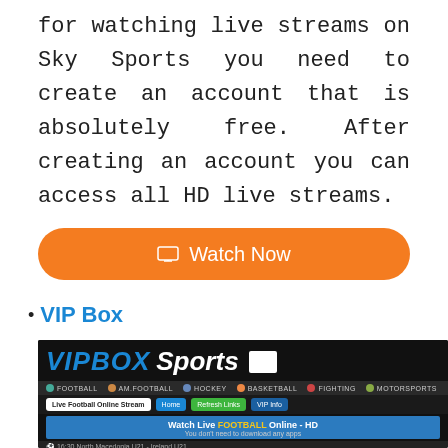for watching live streams on Sky Sports you need to create an account that is absolutely free. After creating an account you can access all HD live streams.
[Figure (other): Orange rounded button with monitor icon and text 'Watch Now']
VIP Box
[Figure (screenshot): Screenshot of VIPBOX Sports website showing navigation bar with Football, Am.Football, Hockey, Basketball, Fighting, Motorsports categories, and a 'Watch Live FOOTBALL Online - HD' banner with subtitle 'You don't need to download any apps']